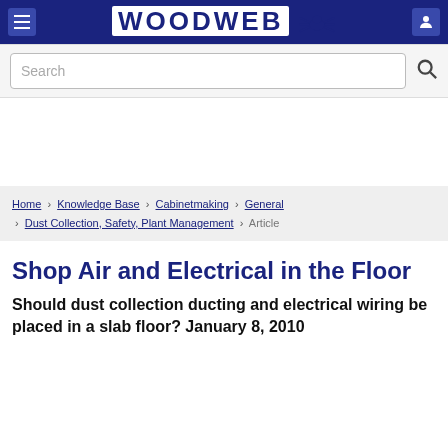WOODWEB
Search
Home › Knowledge Base › Cabinetmaking › General › Dust Collection, Safety, Plant Management › Article
Shop Air and Electrical in the Floor
Should dust collection ducting and electrical wiring be placed in a slab floor? January 8, 2010